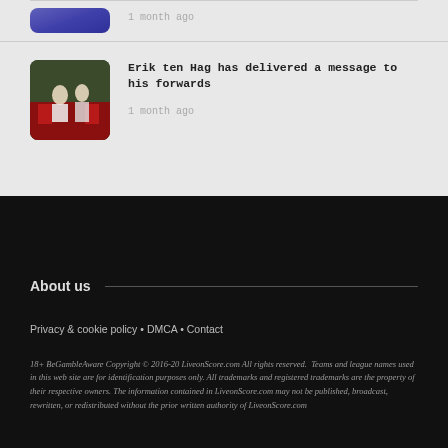[Figure (photo): Football player thumbnail image (partially visible at top)]
1 month ago
[Figure (photo): Football players on pitch with goal signage in background]
Erik ten Hag has delivered a message to his forwards
1 month ago
About us
Privacy & cookie policy • DMCA • Contact
18+ BeGambleAware Copyright © 2016-20 LiveonScore.com All rights reserved. Teams and league names used in this web site are for identification purposes only. All trademarks and registered trademarks are the property of their respective owners. The information contained in LiveonScore.com may not be published, broadcast, rewritten, or redistributed without the prior written authority of LiveonScore.com